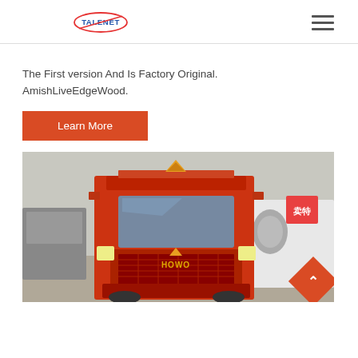TALENET
The First version And Is Factory Original. AmishLiveEdgeWood.
Learn More
[Figure (photo): Front view of a red HOWO heavy-duty truck in a vehicle yard, with other trucks and a white cement mixer visible in the background. Chinese signage visible on the right.]